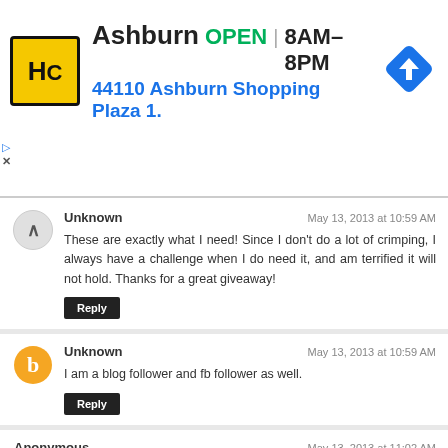[Figure (screenshot): Advertisement banner for Haircut store in Ashburn with HC logo, showing OPEN 8AM-8PM and address 44110 Ashburn Shopping Plaza 1., with navigation arrow icon]
Unknown
May 13, 2013 at 10:59 AM
These are exactly what I need! Since I don't do a lot of crimping, I always have a challenge when I do need it, and am terrified it will not hold. Thanks for a great giveaway!
Reply
Unknown
May 13, 2013 at 10:59 AM
I am a blog follower and fb follower as well.
Reply
Anonymous
May 13, 2013 at 11:02 AM
This tool looks so easy to use and would make crimping a much easier job in tight places. I hope I win one so I can tell